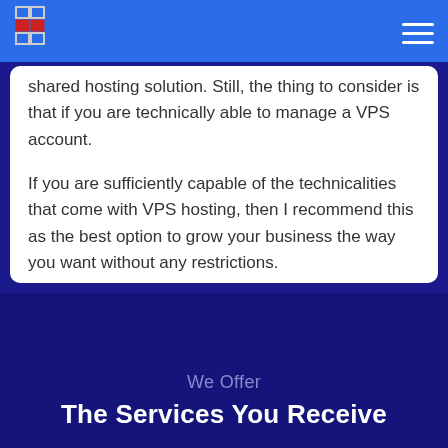[Figure (logo): Logo with grid/squares icon in blue and red on blue header bar]
shared hosting solution. Still, the thing to consider is that if you are technically able to manage a VPS account.
If you are sufficiently capable of the technicalities that come with VPS hosting, then I recommend this as the best option to grow your business the way you want without any restrictions.
+ What does VPS Stand For?
We Offer
The Services You Receive